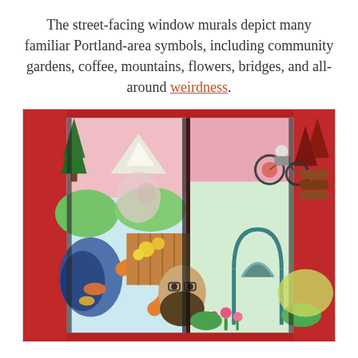The street-facing window murals depict many familiar Portland-area symbols, including community gardens, coffee, mountains, flowers, bridges, and all-around weirdness.
[Figure (photo): A photograph of colorful street-facing window murals on a red building, depicting Portland-area symbols including mountains, community gardens, flowers, bridges, a bearded man, a bicycle, arch structures, and other whimsical imagery.]